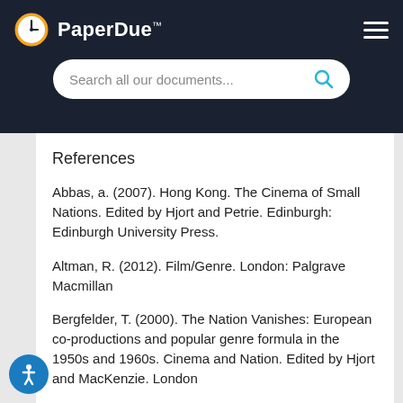PaperDue™ — Search all our documents...
References
Abbas, a. (2007). Hong Kong. The Cinema of Small Nations. Edited by Hjort and Petrie. Edinburgh: Edinburgh University Press.
Altman, R. (2012). Film/Genre. London: Palgrave Macmillan
Bergfelder, T. (2000). The Nation Vanishes: European co-productions and popular genre formula in the 1950s and 1960s. Cinema and Nation. Edited by Hjort and MacKenzie. London